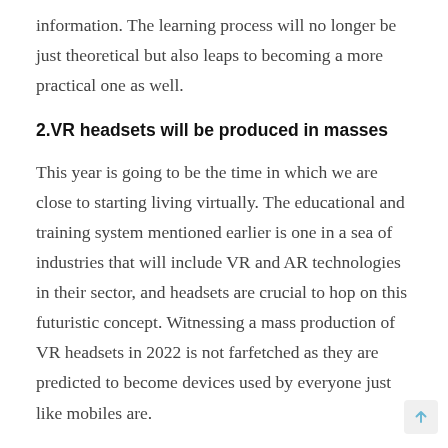information. The learning process will no longer be just theoretical but also leaps to becoming a more practical one as well.
2.VR headsets will be produced in masses
This year is going to be the time in which we are close to starting living virtually. The educational and training system mentioned earlier is one in a sea of industries that will include VR and AR technologies in their sector, and headsets are crucial to hop on this futuristic concept. Witnessing a mass production of VR headsets in 2022 is not farfetched as they are predicted to become devices used by everyone just like mobiles are.